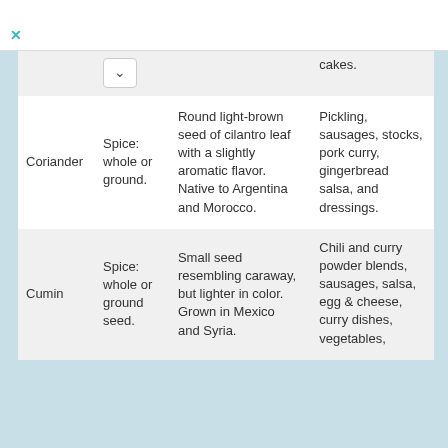| Name | Form | Description | Uses |
| --- | --- | --- | --- |
|  |  | cakes. |  |
| Coriander | Spice: whole or ground. | Round light-brown seed of cilantro leaf with a slightly aromatic flavor. Native to Argentina and Morocco. | Pickling, sausages, stocks, pork curry, gingerbread salsa, and dressings. |
| Cumin | Spice: whole or ground seed. | Small seed resembling caraway, but lighter in color. Grown in Mexico and Syria. | Chili and curry powder blends, sausages, salsa, egg & cheese, curry dishes, vegetables, |